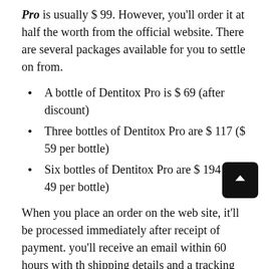Pro is usually $ 99. However, you'll order it at half the worth from the official website. There are several packages available for you to settle on from.
A bottle of Dentitox Pro is $ 69 (after discount)
Three bottles of Dentitox Pro are $ 117 ($ 59 per bottle)
Six bottles of Dentitox Pro are $ 194 ($ 49 per bottle)
When you place an order on the web site, it'll be processed immediately after receipt of payment. you'll receive an email within 60 hours with the shipping details and a tracking link.
Shipping is free within the US and it takes 5-7 business days to urge to you. Shipping to Canada, UK, Australia, New Zealand and elsewhere is $ 15.95 and...